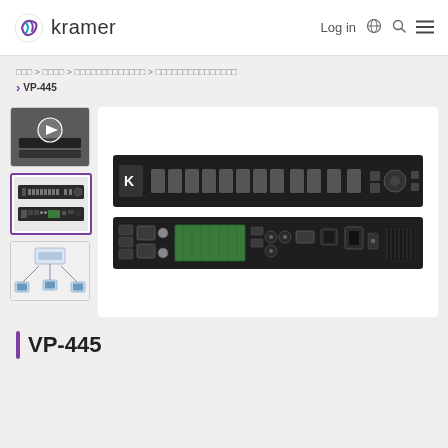kramer — Log in
□□□ > □□□□ > □□□□□□□□□□□□□ > □□□□□□□□□□□□□□□ > VP-445
[Figure (screenshot): Thumbnail 1: video play button thumbnail of Kramer VP-445 product video]
[Figure (screenshot): Thumbnail 2: front and rear panel view of VP-445 (selected, purple border)]
[Figure (screenshot): Thumbnail 3: network diagram illustration with VP-445]
[Figure (photo): Main product image showing VP-445 front panel (top) and rear panel (bottom) of the rack-mount switcher]
VP-445